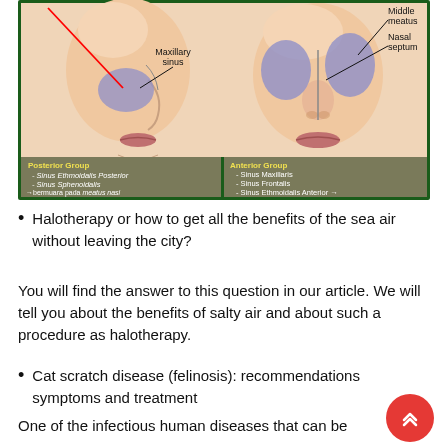[Figure (illustration): Anatomical illustration of sinuses. Side profile (left) showing Maxillary sinus labeled with a red line. Front-facing view (right) showing Middle meatus and Nasal septum. Below: two gray/khaki boxes - left box: Posterior Group listing Sinus Ethmoidalis Posterior, Sinus Sphenoidalis, arrow bermuara pada meatus nasi nasi superior; right box: Anterior Group listing Sinus Maxillaris, Sinus Frontalis, Sinus Ethmoidalis Anterior arrow bermuara pada meatus nasi medius (KOM). All text in yellow/white on dark background, bordered by dark green.]
Halotherapy or how to get all the benefits of the sea air without leaving the city?
You will find the answer to this question in our article. We will tell you about the benefits of salty air and about such a procedure as halotherapy.
Cat scratch disease (felinosis): recommendations symptoms and treatment
One of the infectious human diseases that can be